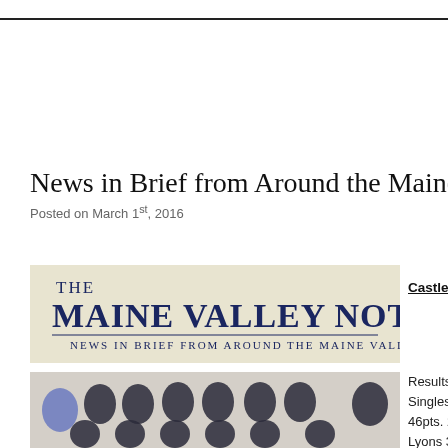News in Brief from Around the Maine Valley
Posted on March 1st, 2016
[Figure (logo): The Maine Valley Notes masthead/banner — 'THE MAINE VALLEY NOTES — NEWS IN BRIEF FROM AROUND THE MAINE VALLEY']
Castleisland Golf Clu…
[Figure (photo): Group photo of girls basketball/GAA team in black and gold uniforms indoors]
Results for Sunday 28… Singles 18 hole Stable… 46pts. 2nd/ Brendan H… Lyons 38 pts. Div 1 Ka… Tom McNeice 36 pts.…